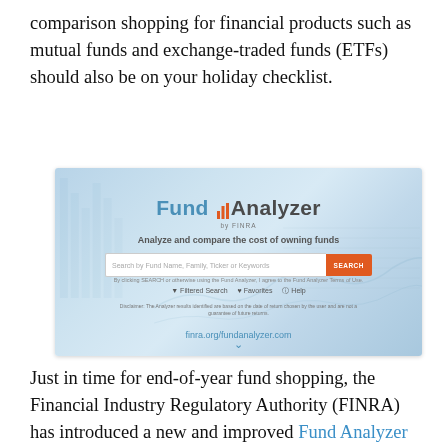comparison shopping for financial products such as mutual funds and exchange-traded funds (ETFs) should also be on your holiday checklist.
[Figure (screenshot): Screenshot of FINRA Fund Analyzer tool website showing the Fund Analyzer logo, a search bar with 'Search by Fund Name, Family, Ticker or Keywords' placeholder text and an orange SEARCH button, tagline 'Analyze and compare the cost of owning funds', and links for Filtered Search, Favorites, and Help.]
Just in time for end-of-year fund shopping, the Financial Industry Regulatory Authority (FINRA) has introduced a new and improved Fund Analyzer tool. It can help you understand the impact of fees and potential discounts on mutual funds, ETFs, exchange-traded notes and money